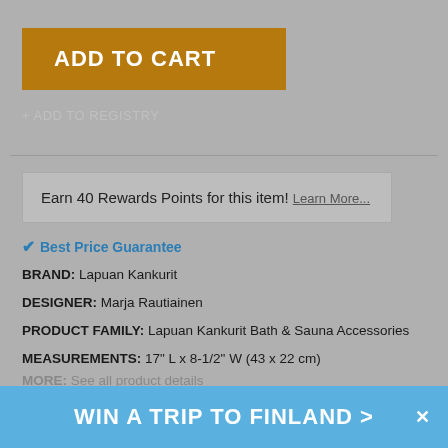ADD TO CART
+ ADD TO REGISTRY
Earn 40 Rewards Points for this item! Learn More...
✔ Best Price Guarantee
BRAND: Lapuan Kankurit
DESIGNER: Marja Rautiainen
PRODUCT FAMILY: Lapuan Kankurit Bath & Sauna Accessories
MEASUREMENTS: 17" L x 8-1/2" W (43 x 22 cm)
MORE: See all product details
WIN A TRIP TO FINLAND >